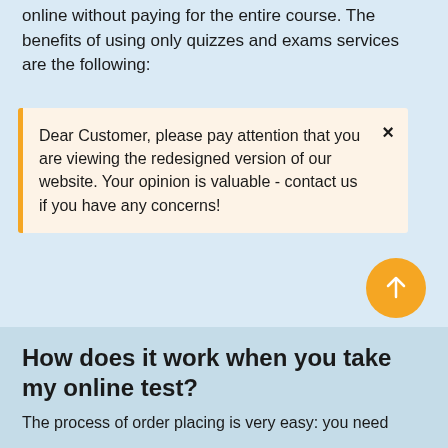online without paying for the entire course. The benefits of using only quizzes and exams services are the following:
Dear Customer, please pay attention that you are viewing the redesigned version of our website. Your opinion is valuable - contact us if you have any concerns!
the final grade
You test our services before making the decision to purchase the entire course writing service
How does it work when you take my online test?
The process of order placing is very easy: you need